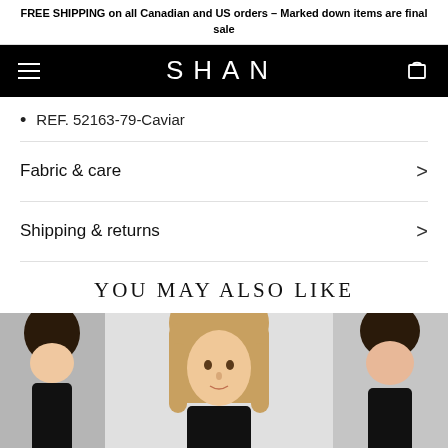FREE SHIPPING on all Canadian and US orders – Marked down items are final sale
SHAN
REF. 52163-79-Caviar
Fabric & care
Shipping & returns
YOU MAY ALSO LIKE
[Figure (photo): Three fashion product photos showing models wearing black swimwear/clothing against light backgrounds]